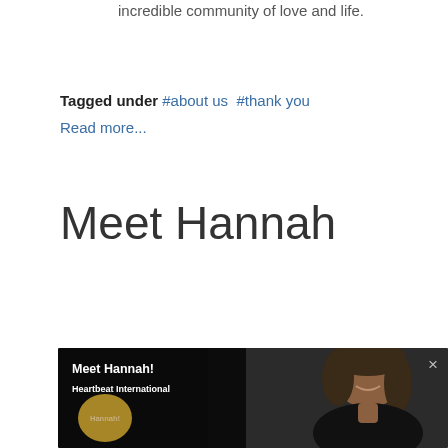incredible community of love and life.
Tagged under  #about us  #thank you
Read more...
Meet Hannah
[Figure (screenshot): Video player screenshot showing a woman smiling, with overlay text 'Meet Hannah!' and subtitle 'Heartbeat International', a gold circle with 'Hannah!' text, and a close (×) button in the top right corner.]